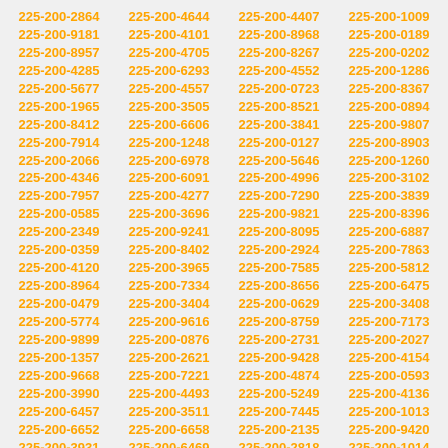225-200-2864 225-200-9181 225-200-8957 225-200-4285 225-200-5677 225-200-1965 225-200-8412 225-200-7914 225-200-2066 225-200-4346 225-200-7957 225-200-0585 225-200-2349 225-200-0359 225-200-4120 225-200-8964 225-200-0479 225-200-5774 225-200-9899 225-200-1357 225-200-9668 225-200-3990 225-200-6457 225-200-6652 225-200-3931 225-200-0485 225-200-2940 225-200-7820 225-200-9587 225-200-4575 225-200-4644 225-200-4101 225-200-4705 225-200-6293 225-200-4557 225-200-3505 225-200-6606 225-200-1248 225-200-6978 225-200-6091 225-200-4277 225-200-3696 225-200-9241 225-200-8402 225-200-3965 225-200-7334 225-200-3404 225-200-9616 225-200-0876 225-200-2621 225-200-7221 225-200-4493 225-200-3511 225-200-6658 225-200-6469 225-200-6256 225-200-9947 225-200-0120 225-200-3355 225-200-8405 225-200-4407 225-200-8968 225-200-8267 225-200-4552 225-200-0723 225-200-8521 225-200-3841 225-200-0127 225-200-5646 225-200-4996 225-200-7290 225-200-9821 225-200-8095 225-200-2924 225-200-7585 225-200-8656 225-200-0629 225-200-8759 225-200-2731 225-200-9428 225-200-4874 225-200-5249 225-200-7445 225-200-2135 225-200-2818 225-200-9758 225-200-8700 225-200-4469 225-200-3552 225-200-5633 225-200-1009 225-200-0189 225-200-0202 225-200-1286 225-200-8367 225-200-0894 225-200-9807 225-200-8903 225-200-1260 225-200-3102 225-200-3839 225-200-8396 225-200-6887 225-200-7863 225-200-5812 225-200-6475 225-200-3408 225-200-7173 225-200-2027 225-200-4154 225-200-0593 225-200-4136 225-200-1013 225-200-9420 225-200-1014 225-200-0091 225-200-3912 225-200-7695 225-200-3146 225-200-4066